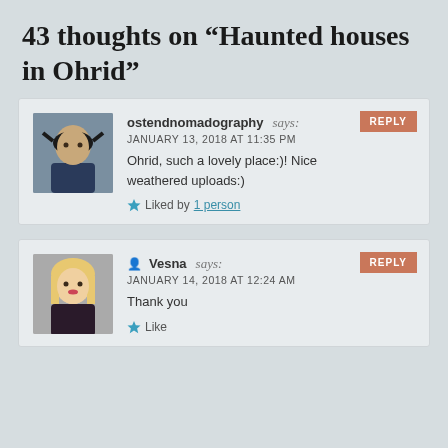43 thoughts on “Haunted houses in Ohrid”
ostendnomadography says:
JANUARY 13, 2018 AT 11:35 PM
Ohrid, such a lovely place:)! Nice weathered uploads:)
Liked by 1 person
Vesna says:
JANUARY 14, 2018 AT 12:24 AM
Thank you
Like